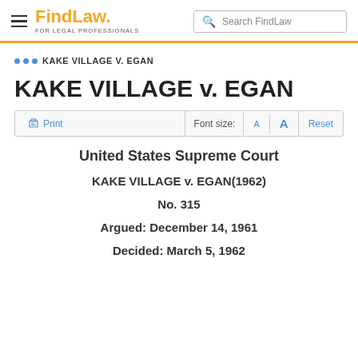FindLaw FOR LEGAL PROFESSIONALS | Search FindLaw
... KAKE VILLAGE V. EGAN
KAKE VILLAGE v. EGAN
Print | Font size: A A Reset
United States Supreme Court
KAKE VILLAGE v. EGAN(1962)
No. 315
Argued: December 14, 1961
Decided: March 5, 1962